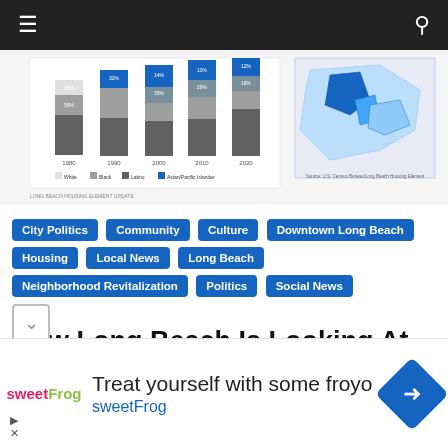Navigation bar with menu and search icons
[Figure (screenshot): Screenshot of Long Beach Housing Element Update document showing stacked bar charts of racial demographics over years and a choropleth map of Long Beach neighborhoods]
City Politics
Community
Culture
Downtown Long Beach
Housing
Local News
Long Beach
Neighborhood Revitalization
Politics
Social News
How Long Beach Is Looking At Its Rooted Segregation
[Figure (screenshot): Advertisement for sweetFrog frozen yogurt showing logo, text 'Treat yourself with some froyo', 'sweetFrog', and a navigation arrow icon]